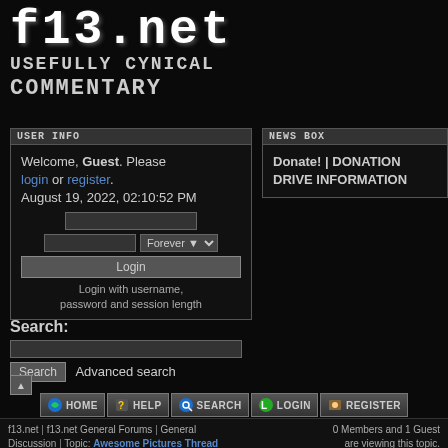f13.net USEFULLY CYNICAL COMMENTARY
USER INFO
Welcome, Guest. Please login or register. August 19, 2022, 02:10:52 PM
NEWS BOX
Donate! | DONATION DRIVE INFORMATION
Search:
Search   Advanced search
f13.net | f13.net General Forums | General Discussion | Topic: Awesome Pictures Thread   0 Members and 1 Guest are viewing this topic.